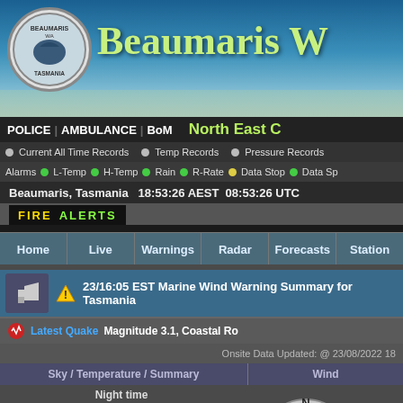Beaumaris W
POLICE | AMBULANCE | BoM   North East C
Current All Time Records   Temp Records   Pressure Records
Alarms  L-Temp  H-Temp  Rain  R-Rate  Data Stop  Data Sp
Beaumaris, Tasmania   18:53:26 AEST   08:53:26 UTC
FIRE  ALERTS
Home | Live | Warnings | Radar | Forecasts | Station
23/16:05 EST Marine Wind Warning Summary for Tasmania
Latest Quake  Magnitude 3.1, Coastal Ro
Onsite Data Updated: @ 23/08/2022 18
Sky / Temperature / Summary
Wind
Night time
Cold
1 Bft - Light a